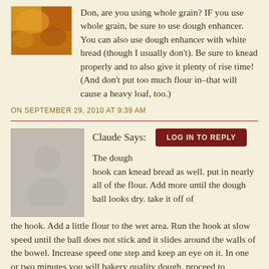[Figure (photo): Small thumbnail photo of food item (bread/grain), warm orange-yellow tones]
Don, are you using whole grain? IF you use whole grain, be sure to use dough enhancer. You can also use dough enhancer with white bread (though I usually don't). Be sure to knead properly and to also give it plenty of rise time! (And don't put too much flour in–that will cause a heavy loaf, too.)
ON SEPTEMBER 29, 2010 AT 9:39 AM
[Figure (illustration): Default user avatar: grey silhouette of a person on grey background]
Claude Says:
LOG IN TO REPLY
The dough hook can knead bread as well. put in nearly all of the flour. Add more until the dough ball looks dry. take it off of the hook. Add a little flour to the wet area. Run the hook at slow speed until the ball does not stick and it slides around the walls of the bowel. Increase speed one step and keep an eye on it. In one or two minutes you will bakery quality dough. proceed to